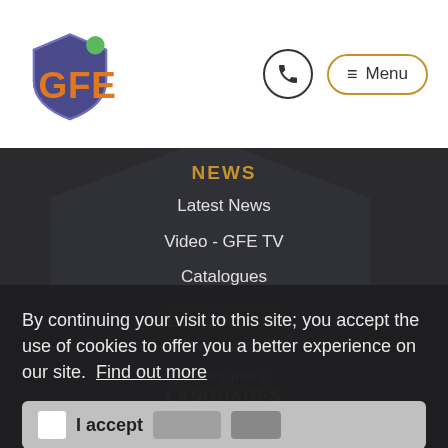[Figure (logo): GFE logo with shield shape in blue/purple with orange GFE text and green accent]
≡ Menu
NEWS
Latest News
Video - GFE TV
Catalogues
LEGAL NOTICE
Terms of use
Privacy policy
By continuing your visit to this site; you accept the use of cookies to offer you a better experience on our site.  Find out more
I accept
LANGUAGES
SOCIAL MEDIA